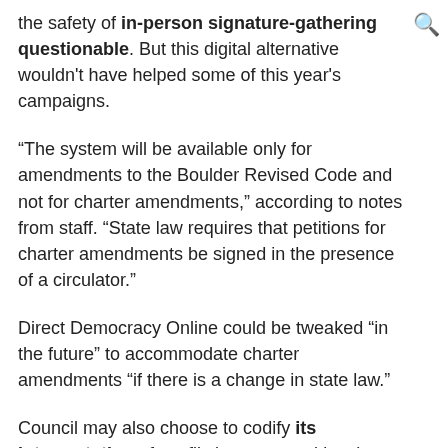the safety of in-person signature-gathering questionable. But this digital alternative wouldn't have helped some of this year's campaigns.
“The system will be available only for amendments to the Boulder Revised Code and not for charter amendments,” according to notes from staff. “State law requires that petitions for charter amendments be signed in the presence of a circulator.”
Direct Democracy Online could be tweaked “in the future” to accommodate charter amendments “if there is a change in state law.”
Council may also choose to codify its interpretation of conflicting state and local election rules by stating, definitively, that Colorado law governs charter amendment petitions. In Bedrooms